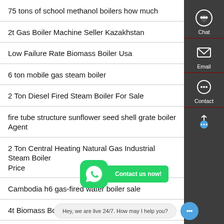75 tons of school methanol boilers how much
2t Gas Boiler Machine Seller Kazakhstan
Low Failure Rate Biomass Boiler Usa
6 ton mobile gas steam boiler
2 Ton Diesel Fired Steam Boiler For Sale
fire tube structure sunflower seed shell grate boiler Agent
2 Ton Central Heating Natural Gas Industrial Steam Boiler Price
Cambodia h6 gas-fired water boiler sale
4t Biomass Boiler a…
Oil Boilers Scrowfix.com